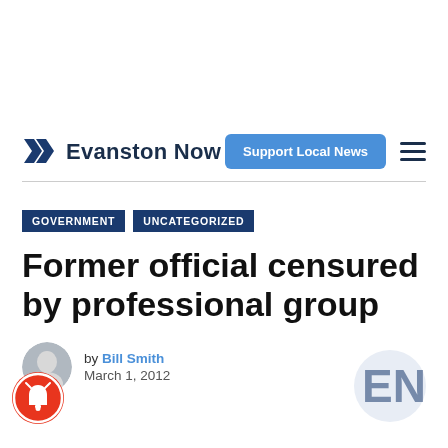Evanston Now — Support Local News
GOVERNMENT   UNCATEGORIZED
Former official censured by professional group
by Bill Smith
March 1, 2012